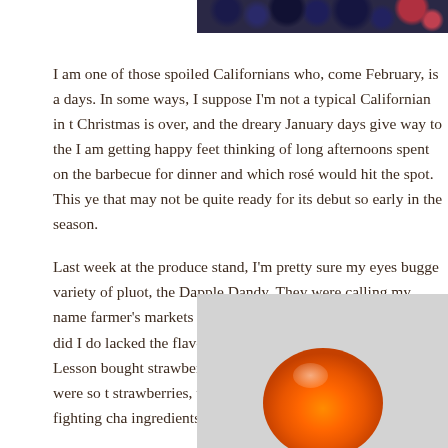[Figure (photo): Top portion of a photo showing blueberries and strawberries, cropped at the top of the page]
I am one of those spoiled Californians who, come February, is a days. In some ways, I suppose I'm not a typical Californian in t Christmas is over, and the dreary January days give way to the I am getting happy feet thinking of long afternoons spent on the barbecue for dinner and which rosé would hit the spot. This ye that may not be quite ready for its debut so early in the season.
Last week at the produce stand, I'm pretty sure my eyes bugge variety of pluot, the Dapple Dandy. They were calling my name farmer's markets for another several months. But what did I do lacked the flavor and sweetness that makes me swoon. Lesson bought strawberries and blueberries. The blueberries were so t strawberries, while definitely not spectacular, had a fighting cha ingredients.
[Figure (photo): Bottom portion of a photo showing an orange/apricot colored round fruit against a light gray background]